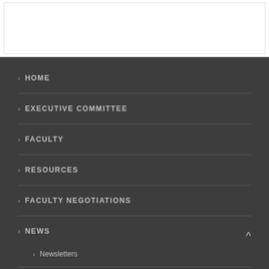> HOME
> EXECUTIVE COMMITTEE
> FACULTY
> RESOURCES
> FACULTY NEGOTIATIONS
> NEWS
> Newsletters